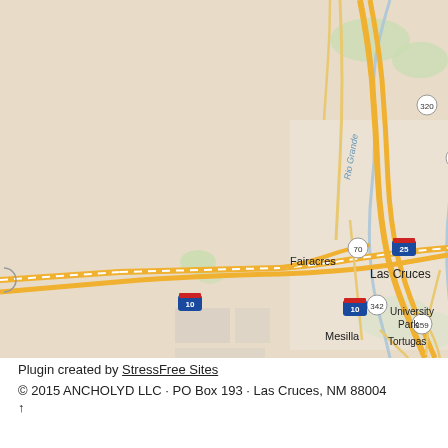[Figure (map): Google Maps screenshot showing Las Cruces, NM area including Doña Ana, San Ysidro, Fairacres, Mesilla, University Park, Tortugas, San Pablo neighborhoods. Shows Rio Grande river, Interstate 10, Interstate 25, and state roads 320, 185, 70, 342, 359, 372, 478.]
Plugin created by StressFree Sites
© 2015 ANCHOLYD LLC · PO Box 193 · Las Cruces, NM 88004
↑